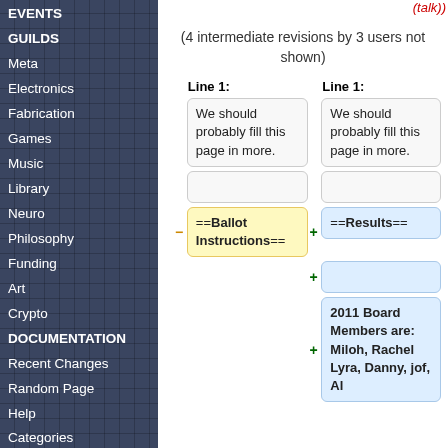EVENTS
GUILDS
Meta
Electronics
Fabrication
Games
Music
Library
Neuro
Philosophy
Funding
Art
Crypto
DOCUMENTATION
Recent Changes
Random Page
Help
Categories
Edit
What links here
Related changes
Special pages
(talk)
(4 intermediate revisions by 3 users not shown)
| Line 1: | Line 1: |
| --- | --- |
| We should probably fill this page in more. | We should probably fill this page in more. |
|  |  |
| ==Ballot Instructions== | ==Results== |
|  |  |
|  | 2011 Board Members are: Miloh, Rachel Lyra, Danny, jof, Al |